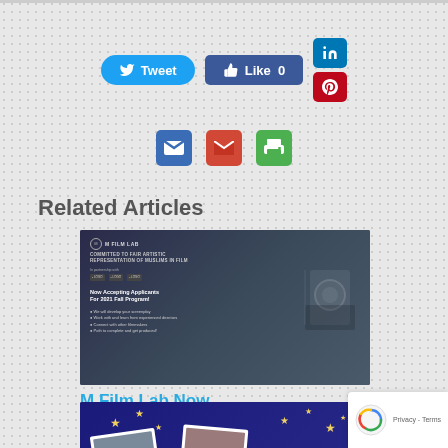[Figure (other): Social share buttons row: Tweet (Twitter), Like 0 (Facebook), LinkedIn, Pinterest buttons]
[Figure (other): Icon row: email, Gmail, print share icons]
Related Articles
[Figure (photo): M Film Lab article thumbnail - dark image with text about M Film Lab committed to fair artistic representation of Muslims in film, now accepting applicants for 2021 fall program, with camera equipment silhouette]
M Film Lab Now Accepting Applications for
[Figure (photo): American Eid article thumbnail - dark blue background with polaroid photos, stars, launchpad presents American Eid text]
[Figure (other): reCAPTCHA privacy badge - Privacy - Terms]